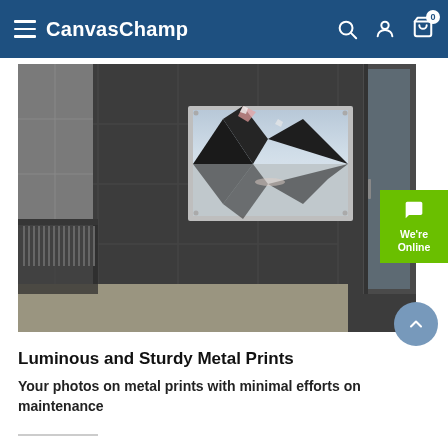CanvasChamp
[Figure (photo): A framed acrylic/metal print of a mountain lake reflection scene mounted on a dark exterior wall with tiled panels, showing a balcony setting with railing and a glass door on the right.]
Luminous and Sturdy Metal Prints
Your photos on metal prints with minimal efforts on maintenance